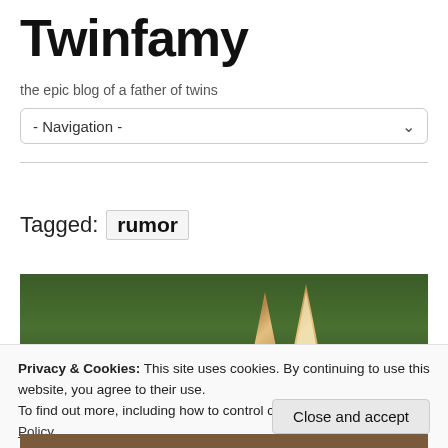Twinfamy
the epic blog of a father of twins
- Navigation -
Tagged: rumor
[Figure (photo): Photo of an animal (likely a deer or fox) with ears visible above green foliage background]
Privacy & Cookies: This site uses cookies. By continuing to use this website, you agree to their use.
To find out more, including how to control cookies, see here: Cookie Policy
Close and accept